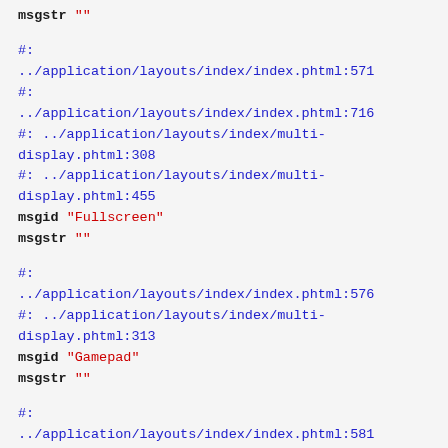msgstr ""
#:
../application/layouts/index/index.phtml:571
#:
../application/layouts/index/index.phtml:716
#: ../application/layouts/index/multi-display.phtml:308
#: ../application/layouts/index/multi-display.phtml:455
msgid "Fullscreen"
msgstr ""
#:
../application/layouts/index/index.phtml:576
#: ../application/layouts/index/multi-display.phtml:313
msgid "Gamepad"
msgstr ""
#:
../application/layouts/index/index.phtml:581
#: ../application/layouts/index/multi-display.phtml:318
msgid "Get location"
msgstr ""